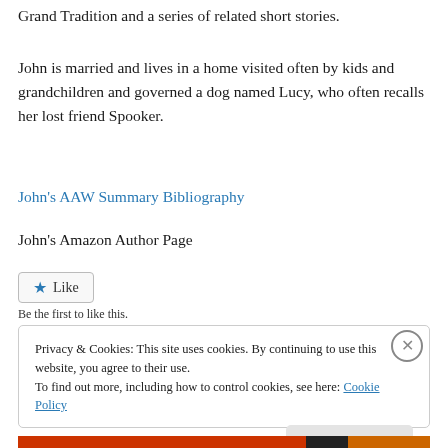Grand Tradition and a series of related short stories.
John is married and lives in a home visited often by kids and grandchildren and governed a dog named Lucy, who often recalls her lost friend Spooker.
John's AAW Summary Bibliography
John's Amazon Author Page
Like
Be the first to like this.
Privacy & Cookies: This site uses cookies. By continuing to use this website, you agree to their use.
To find out more, including how to control cookies, see here: Cookie Policy
Close and accept